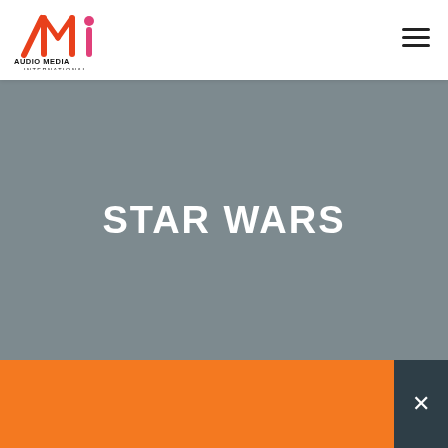[Figure (logo): Audio Media International logo — AMI stylized letters in orange/red/pink with 'AUDIO MEDIA INTERNATIONAL' text beneath]
[Figure (other): Hamburger menu icon — three horizontal black lines]
STAR WARS
ADVERTISE WITH US >
SHARE THIS PAGE:
[Figure (other): Close button (X) on dark background]